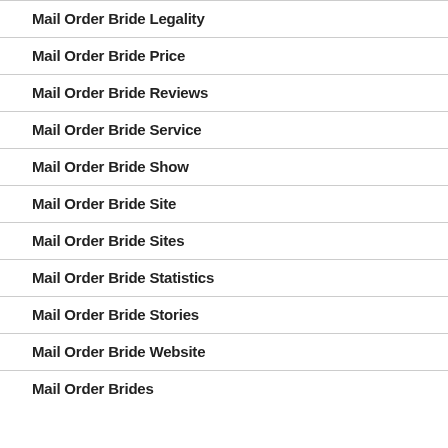Mail Order Bride Legality
Mail Order Bride Price
Mail Order Bride Reviews
Mail Order Bride Service
Mail Order Bride Show
Mail Order Bride Site
Mail Order Bride Sites
Mail Order Bride Statistics
Mail Order Bride Stories
Mail Order Bride Website
Mail Order Brides